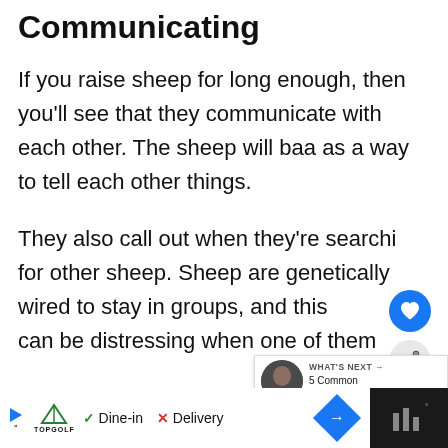Communicating
If you raise sheep for long enough, then you'll see that they communicate with each other. The sheep will baa as a way to tell each other things.
They also call out when they're searching for other sheep. Sheep are genetically wired to stay in groups, and this can be distressing when one of them
[Figure (screenshot): Web UI overlay with heart/like icon (blue circle), share icon (grey circle), and 'What's Next' recommendation box showing '5 Common Reasons Wh...' with a thumbnail]
[Figure (screenshot): Advertisement bar at bottom showing TopGolf logo with play button and X, Dine-in checkmark, Delivery X, blue diamond arrow button, dark panel with bar chart icon]